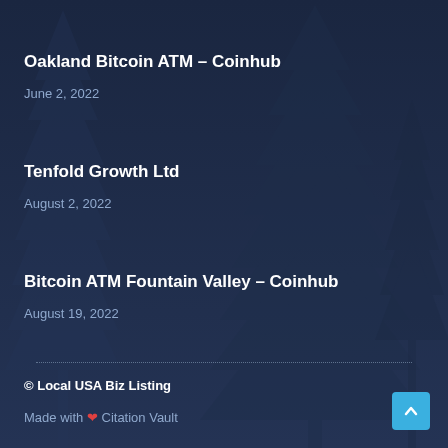Oakland Bitcoin ATM – Coinhub
June 2, 2022
Tenfold Growth Ltd
August 2, 2022
Bitcoin ATM Fountain Valley – Coinhub
August 19, 2022
© Local USA Biz Listing
Made with ♥ Citation Vault